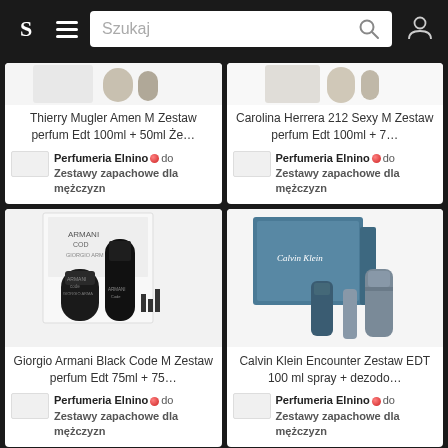S — Szukaj (search bar navigation)
[Figure (photo): Thierry Mugler Amen M perfume set product photo (partially visible at top)]
Thierry Mugler Amen M Zestaw perfum Edt 100ml + 50ml Że…
Perfumeria Elnino • do Zestawy zapachowe dla mężczyzn
[Figure (photo): Carolina Herrera 212 Sexy M perfume set product photo (partially visible at top)]
Carolina Herrera 212 Sexy M Zestaw perfum Edt 100ml + 7…
Perfumeria Elnino • do Zestawy zapachowe dla mężczyzn
[Figure (photo): Giorgio Armani Black Code M fragrance set with box, deodorant stick and spray bottle]
Giorgio Armani Black Code M Zestaw perfum Edt 75ml + 75…
Perfumeria Elnino • do Zestawy zapachowe dla mężczyzn
[Figure (photo): Calvin Klein Encounter fragrance gift set with teal blue box, spray bottle, tube and deodorant]
Calvin Klein Encounter Zestaw EDT 100 ml spray + dezodo…
Perfumeria Elnino • do Zestawy zapachowe dla mężczyzn
[Figure (photo): Partially visible product card at bottom left]